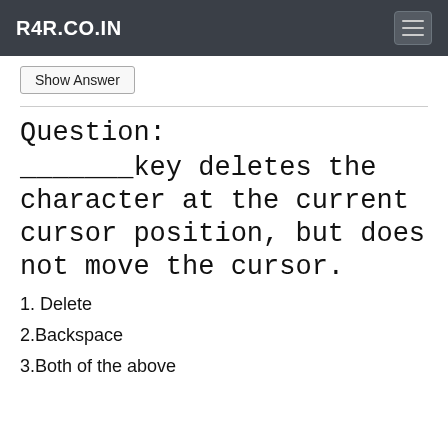R4R.CO.IN
Show Answer
Question: _______key deletes the character at the current cursor position, but does not move the cursor.
1. Delete
2.Backspace
3.Both of the above